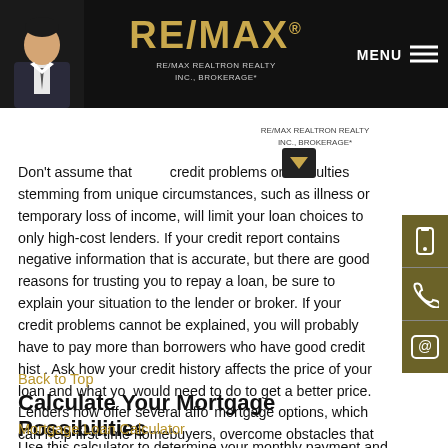RE/MAX REALTRON REALTY INC., BROKERAGE*
Don't assume that past credit problems or difficulties stemming from unique circumstances, such as illness or temporary loss of income, will limit your loan choices to only high-cost lenders. If your credit report contains negative information that is accurate, but there are good reasons for trusting you to repay a loan, be sure to explain your situation to the lender or broker. If your credit problems cannot be explained, you will probably have to pay more than borrowers who have good credit history. Ask how your credit history affects the price of your loan and what you would need to do to get a better price. Lenders now offer several affordable mortgage options, which can help first-time homebuyers, overcome obstacles that made purchasing a home difficult in the past. Lenders may now be able to help borrowers who don't have a lot of money saved for down payment and closing costs, have no or a poor credit history, have quite a bit of long-term debt, or have experienced income irregularities. There are companies who specialize in consumer credit repair.
Back to Top
Calculate Your Mortgage Possibilities
Mortgage Loan Calculator
Use this calculator to determine your monthly payment and amortization